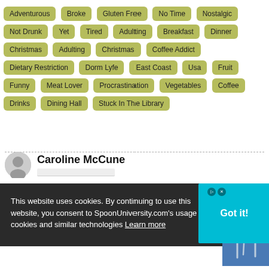Adventurous
Broke
Gluten Free
No Time
Nostalgic
Not Drunk Yet
Tired
Adulting
Breakfast
Dinner
Christmas
Adulting
Christmas
Coffee Addict
Dietary Restriction
Dorm Lyfe
East Coast
Usa
Fruit
Funny
Meat Lover
Procrastination
Vegetables
Coffee
Drinks
Dining Hall
Stuck In The Library
Caroline McCune
[Figure (screenshot): AmeriCorps advertisement banner with teal background. Text: Ready to make an impact in communities across the country? This is your moment. LEARN MORE button.]
This website uses cookies. By continuing to use this website, you consent to SpoonUniversity.com's usage of cookies and similar technologies Learn more
[Figure (screenshot): Got it! button on teal background]
[Figure (screenshot): Video thumbnail showing kitchen utensils with date 03.29.16]